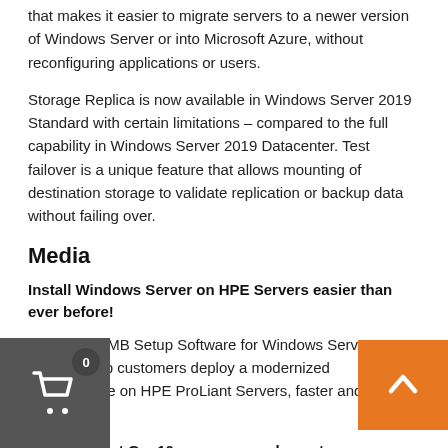that makes it easier to migrate servers to a newer version of Windows Server or into Microsoft Azure, without reconfiguring applications or users.
Storage Replica is now available in Windows Server 2019 Standard with certain limitations – compared to the full capability in Windows Server 2019 Datacenter. Test failover is a unique feature that allows mounting of destination storage to validate replication or backup data without failing over.
Media
Install Windows Server on HPE Servers easier than ever before!
With HPE SMB Setup Software for Windows Server 2019 you can help customers deploy a modernized infrastructure on HPE ProLiant Servers, faster and with less risk.
HPE ProLiant Gen10 servers complement new Windows Server 2019 features